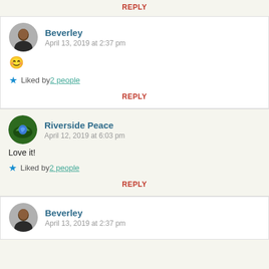REPLY
Beverley
April 13, 2019 at 2:37 pm
😊
Liked by 2 people
REPLY
Riverside Peace
April 12, 2019 at 6:03 pm
Love it!
Liked by 2 people
REPLY
Beverley
April 13, 2019 at 2:37 pm